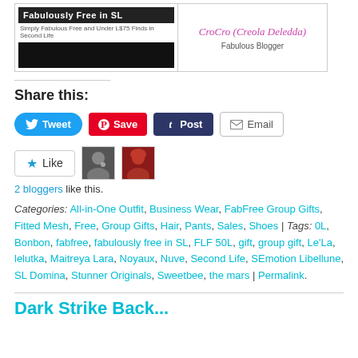[Figure (other): Blogger card showing 'Fabulously Free in SL' logo on the left with tagline 'Simply Fabulous Free and Under L$75 Finds in Second Life' and a black image box, and on the right 'CroCro (Creola Deledda)' in pink italic text with 'Fabulous Blogger' below it.]
Share this:
Tweet | Save | Post | Email
[Figure (other): Like button with star icon, two blogger avatar thumbnails]
2 bloggers like this.
Categories: All-in-One Outfit, Business Wear, FabFree Group Gifts, Fitted Mesh, Free, Group Gifts, Hair, Pants, Sales, Shoes | Tags: 0L, Bonbon, fabfree, fabulously free in SL, FLF 50L, gift, group gift, Le'La, lelutka, Maitreya Lara, Noyaux, Nuve, Second Life, SEmotion Libellune, SL Domina, Stunner Originals, Sweetbee, the mars | Permalink.
Dark Strike Back...